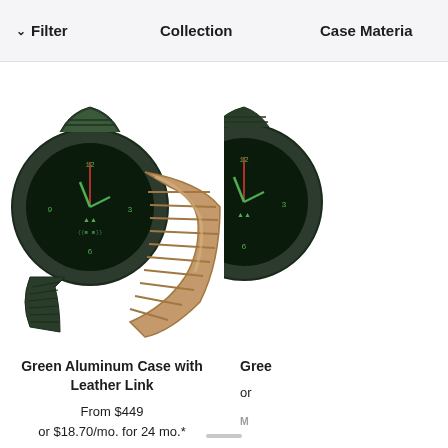Filter   Collection   Case Material
[Figure (photo): Green Apple Watch with dark green band on left side and tan/brown leather link band on right side, partially showing a second watch on the far right]
Green Aluminum Case with Leather Link
From $449
or $18.70/mo. for 24 mo.*
MORE BAND COLORS